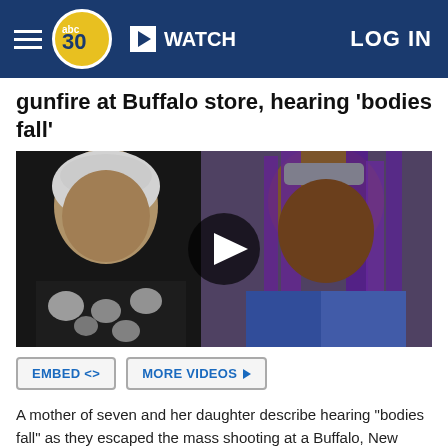abc30 WATCH LOG IN
gunfire at Buffalo store, hearing 'bodies fall'
[Figure (screenshot): Video still showing two women being interviewed outside a store. A woman wearing a white head wrap and black-and-white patterned top is on the left. A woman with long purple braids and a denim jacket is on the right. A video play button circle is overlaid in the center.]
EMBED <> MORE VIDEOS ▶
A mother of seven and her daughter describe hearing "bodies fall" as they escaped the mass shooting at a Buffalo, New York, supermarket.